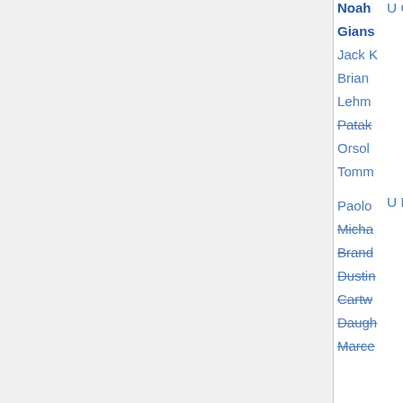| Institution | Areas | Deadline | Applicants |
| --- | --- | --- | --- |
| U Georgia | algebraic geom | Nov 1 | Noah...
Gians...
Jack K...
Brian...
Lehm...
Patak...
Orsol...
Tomm... |
| U Hawaii* | all (4) | Dec 23 | Paolo...
Micha...
Brand...
Dusti...
Cartw...
Daugh...
Marce...
Disco...
Fickus...
Goldb...
Asaf N...
Rob H...
Jerem...
Jonath...
Willia...
tienq... |